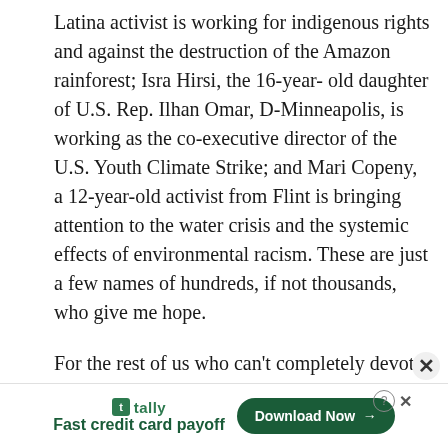Latina activist is working for indigenous rights and against the destruction of the Amazon rainforest; Isra Hirsi, the 16-year-old daughter of U.S. Rep. Ilhan Omar, D-Minneapolis, is working as the co-executive director of the U.S. Youth Climate Strike; and Mari Copeny, a 12-year-old activist from Flint is bringing attention to the water crisis and the systemic effects of environmental racism. These are just a few names of hundreds, if not thousands, who give me hope.
For the rest of us who can't completely devote our lives to climate activism, education will make us more powerful, despite how difficult it is to digest the information. We can change your actions on a small scale. Nature can heal us while it's still here.
I often find myself saying I'm “burned out.” Burned out from imagining a hopeless future, burned out from not knowing
[Figure (other): Advertisement banner for Tally app: tally logo icon, tagline 'Fast credit card payoff', and a 'Download Now' button with arrow. Also shows help icon, X close button, and a side X dismiss button.]